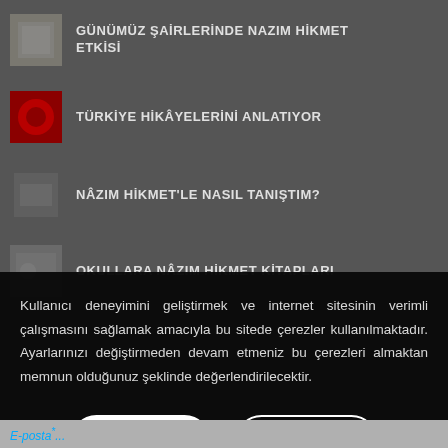GÜNÜMÜZ ŞAİRLERİNDE NAZIM HİKMET ETKİSİ
TÜRKİYE HİKÂYELERİNİ ANLATIYOR
NÂZIM HİKMET'LE NASIL TANIŞTIM?
OKULLARA NÂZIM HİKMET KİTAPLARI
Kullanıcı deneyimini geliştirmek ve internet sitesinin verimli çalışmasını sağlamak amacıyla bu sitede çerezler kullanılmaktadır. Ayarlarınızı değiştirmeden devam etmeniz bu çerezleri almaktan memnun olduğunuz şeklinde değerlendirilecektir.
Kabul Et
Detaylar
E-posta*...